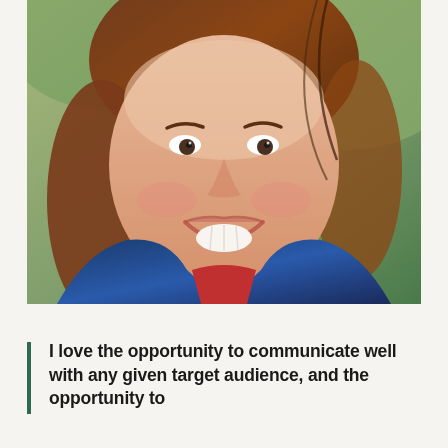[Figure (photo): Close-up photo of a smiling woman with brown hair, wearing a blue jacket and red top, photographed outdoors]
I love the opportunity to communicate well with any given target audience, and the opportunity to